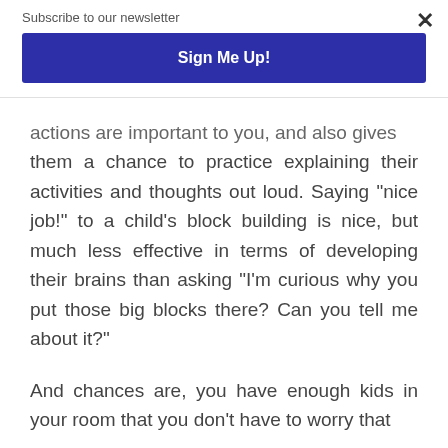Subscribe to our newsletter
Sign Me Up!
actions are important to you, and also gives them a chance to practice explaining their activities and thoughts out loud. Saying “nice job!” to a child’s block building is nice, but much less effective in terms of developing their brains than asking “I’m curious why you put those big blocks there? Can you tell me about it?”
And chances are, you have enough kids in your room that you don’t have to worry that